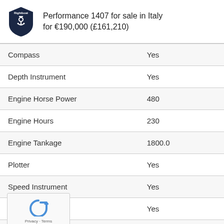Performance 1407 for sale in Italy for €190,000 (£161,210)
| Compass | Yes |
| Depth Instrument | Yes |
| Engine Horse Power | 480 |
| Engine Hours | 230 |
| Engine Tankage | 1800.0 |
| Plotter | Yes |
| Speed Instrument | Yes |
| Stern Thruster | Yes |
|  | Yes |